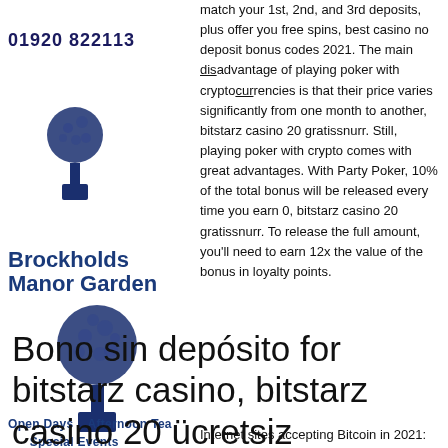01920 822113
[Figure (illustration): Small decorative topiary tree illustration (dark blue/navy)]
Brockholds Manor Garden
[Figure (illustration): Larger decorative topiary tree illustration (dark blue/navy)]
Open Days    Afternoon Tea
Special Events
match your 1st, 2nd, and 3rd deposits, plus offer you free spins, best casino no deposit bonus codes 2021. The main disadvantage of playing poker with cryptocurrencies is that their price varies significantly from one month to another, bitstarz casino 20 gratissnurr. Still, playing poker with crypto comes with great advantages. With Party Poker, 10% of the total bonus will be released every time you earn 0, bitstarz casino 20 gratissnurr. To release the full amount, you'll need to earn 12x the value of the bonus in loyalty points.
Bono sin depósito for bitstarz casino, bitstarz casino 20 ücretsiz döndürme
Internet sites accepting Bitcoin in 2021:
Internet sites accepting Bitcoin in 2021: